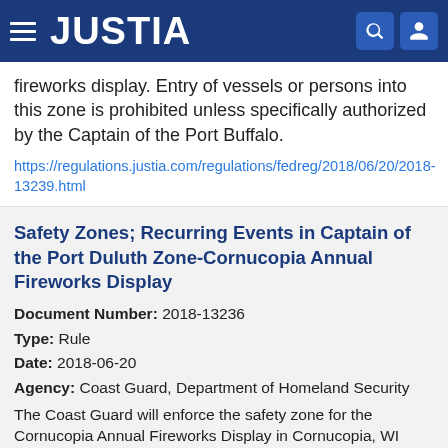JUSTIA
fireworks display. Entry of vessels or persons into this zone is prohibited unless specifically authorized by the Captain of the Port Buffalo.
https://regulations.justia.com/regulations/fedreg/2018/06/20/2018-13239.html
Safety Zones; Recurring Events in Captain of the Port Duluth Zone-Cornucopia Annual Fireworks Display
Document Number: 2018-13236
Type: Rule
Date: 2018-06-20
Agency: Coast Guard, Department of Homeland Security
The Coast Guard will enforce the safety zone for the Cornucopia Annual Fireworks Display in Cornucopia, WI from 9:30 p.m. through 11:30 p.m. on June 30, 2018. This